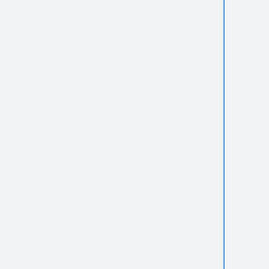| Name | System | File |
| --- | --- | --- |
| (prototype) | Drive |  |
| Lotus II: RECS (Prototype) | Sega Mega Drive | PR-LOTU2.LZ |
| Marko's Magic Football (Prototype) | Sega Mega Drive | PR-MARKO.L |
| McDonald's Treasure Land Adventure (Prototype) | Sega Mega Drive | MCDONALD. |
| Mickey Mania: The Timeless Adventures of Mickey Mouse (Jul 1994 | Sega Mega Drive | SNK-MICK.LZ |